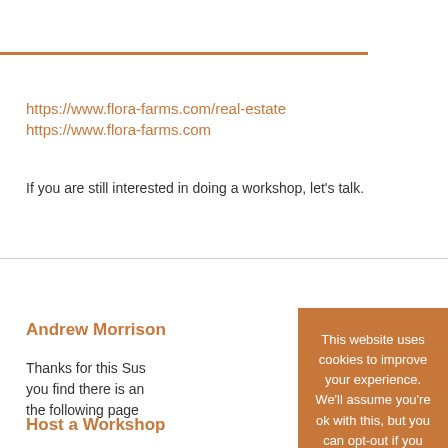https://www.flora-farms.com/real-estate
https://www.flora-farms.com
If you are still interested in doing a workshop, let's talk.
Andrew Morrison
Thanks for this Sus... you find there is an... the following page...
Host a Workshop
This website uses cookies to improve your experience. We'll assume you're ok with this, but you can opt-out if you wish.
Accept   Reject
Privacy Policy